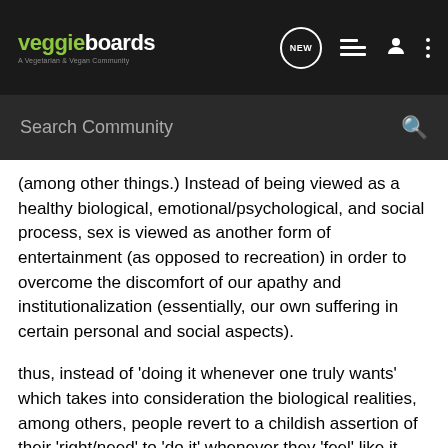veggieboards — A Vegetarian & Vegan Community
(among other things.) Instead of being viewed as a healthy biological, emotional/psychological, and social process, sex is viewed as another form of entertainment (as opposed to recreation) in order to overcome the discomfort of our apathy and institutionalization (essentially, our own suffering in certain personal and social aspects).
thus, instead of 'doing it whenever one truly wants' which takes into consideration the biological realities, among others, people revert to a childish assertion of their 'right/need' to 'do it' whenever they 'feel' like it, when in fact they have little knowledge of their own true feelings.
and charting, among other practices, helps understand and take into consideration not only the spirit desire for sex, but also